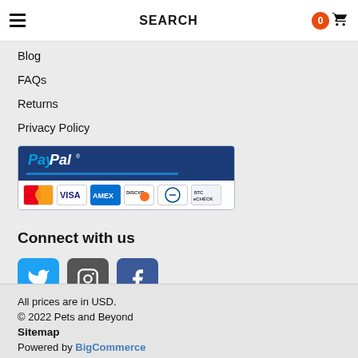SEARCH
Blog
FAQs
Returns
Privacy Policy
[Figure (logo): PayPal payment accepted logo showing PayPal branding and credit card icons including MasterCard, Visa, Amex, Discover, Diners Club, eCheck]
Connect with us
[Figure (infographic): Social media icons: Twitter (blue bird), Instagram (camera), Facebook (f logo)]
Tweets by @petsandbeyond
All prices are in USD. © 2022 Pets and Beyond Sitemap Powered by BigCommerce